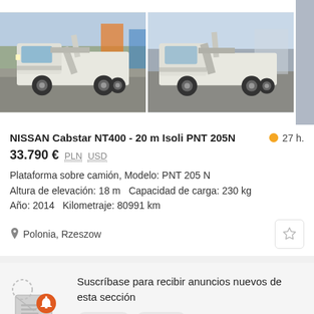[Figure (photo): Two photos of a white Nissan Cabstar NT400 truck with aerial work platform (Isoli PNT 205N) mounted on it, shown from different angles in a vehicle yard]
NISSAN Cabstar NT400 - 20 m Isoli PNT 205N
27 h.
33.790 € PLN USD
Plataforma sobre camión, Modelo: PNT 205 N
Altura de elevación: 18 m  Capacidad de carga: 230 kg
Año: 2014  Kilometraje: 80991 km
Polonia, Rzeszow
[Figure (illustration): Subscribe icon: envelope with notification bell and circular arrow decoration]
Suscríbase para recibir anuncios nuevos de esta sección
NISSAN  Polonia